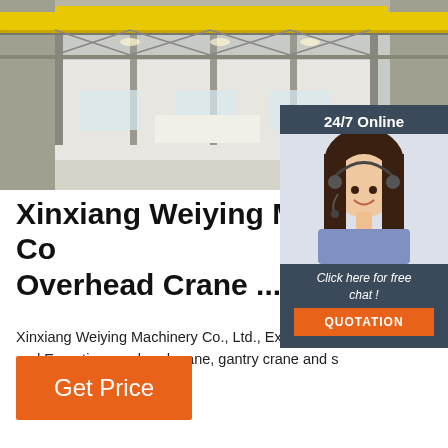[Figure (photo): Industrial overhead crane hall interior with yellow bridge cranes, high ceiling with metal trusses, white walls, large windows, and a person visible in the background.]
[Figure (photo): Customer service representative sidebar widget: '24/7 Online' header, photo of a smiling woman with headset, 'Click here for free chat!' text, and an orange QUOTATION button.]
Xinxiang Weiying Machinery Co. Overhead Crane ...
Xinxiang Weiying Machinery Co., Ltd., Experts in and Exporting overhead crane, gantry crane and s Products.
Get Price